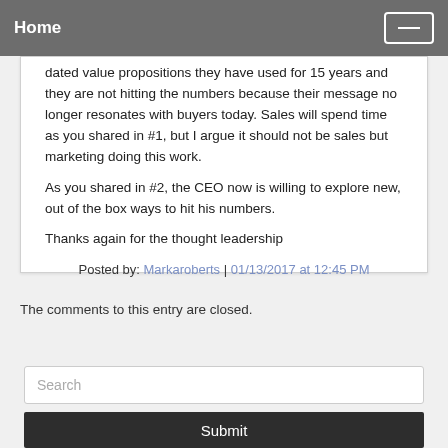Home
dated value propositions they have used for 15 years and they are not hitting the numbers because their message no longer resonates with buyers today. Sales will spend time as you shared in #1, but I argue it should not be sales but marketing doing this work.
As you shared in #2, the CEO now is willing to explore new, out of the box ways to hit his numbers.
Thanks again for the thought leadership
Posted by: Markaroberts | 01/13/2017 at 12:45 PM
The comments to this entry are closed.